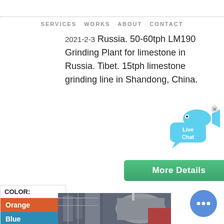SERVICES  WORKS  ABOUT  CONTACT
2021-2-3 Russia. 50-60tph LM190 Grinding Plant for limestone in Russia. Tibet. 15tph limestone grinding line in Shandong, China.
[Figure (other): More Details green button]
[Figure (other): Color selector panel with Orange, Blue, Yellow options]
[Figure (other): Live Chat bubble widget with fish icon]
[Figure (photo): Industrial grinding plant machinery photo]
[Figure (other): Blue chat circle button with dots]